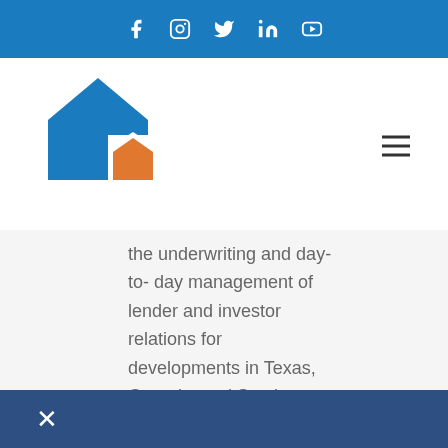[Figure (logo): Social media icon bar with Facebook, Instagram, Twitter, LinkedIn, YouTube icons in white on blue background]
[Figure (logo): House/home logo icon in blue and orange]
the underwriting and day-to- day management of lender and investor relations for developments in Texas, Georgia, and South Carolina. Mr. Gregory has underwritten and assisted in the development of
[Figure (other): Dark blue bottom bar with a white X close button]